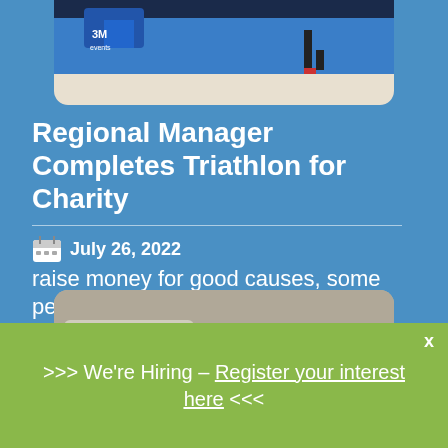[Figure (photo): Triathlon runner crossing finish line with blue banner in background]
Regional Manager Completes Triathlon for Charity
July 26, 2022
raise money for good causes, some people decide
[Figure (photo): Boxes and bags of donated goods piled outside near a vehicle]
>>> We're Hiring – Register your interest here <<<